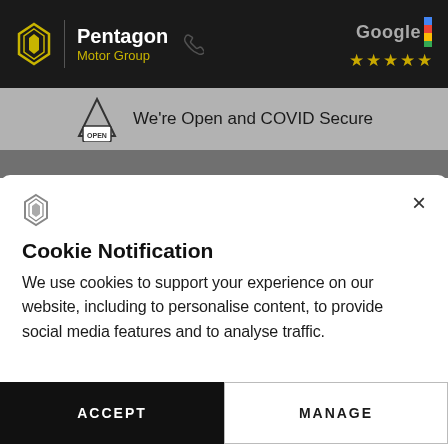[Figure (logo): Pentagon Motor Group logo with Renault diamond icon, company name in white/yellow on black header, Google 5-star rating top right]
We're Open and COVID Secure
Cookie Notification
We use cookies to support your experience on our website, including to personalise content, to provide social media features and to analyse traffic.
ACCEPT
MANAGE